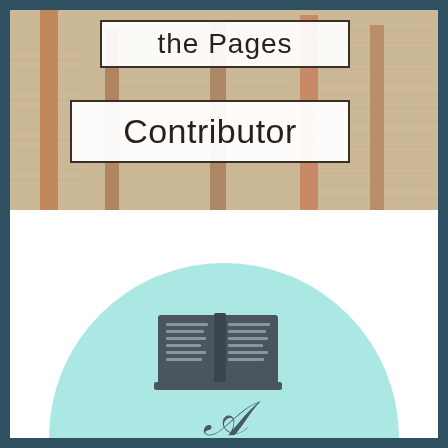[Figure (photo): Background photo of stacked open books/newspapers with cream/tan pages fanned out]
the Pages
Contributor
[Figure (illustration): Light teal/mint circle with an open book icon (dark gray) in the center and a decorative italic letter A below it]